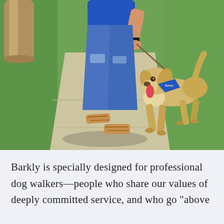[Figure (photo): A person walking a dog on a sidewalk. The person is wearing a blue shirt, ripped jeans, and sandals, holding a leash. The dog is a medium-sized tan/beige dog wearing a blue bandana, walking with tongue out. Green grass is on either side of the concrete sidewalk. A tree trunk is visible on the left.]
Barkly is specially designed for professional dog walkers—people who share our values of deeply committed service, and who go "above